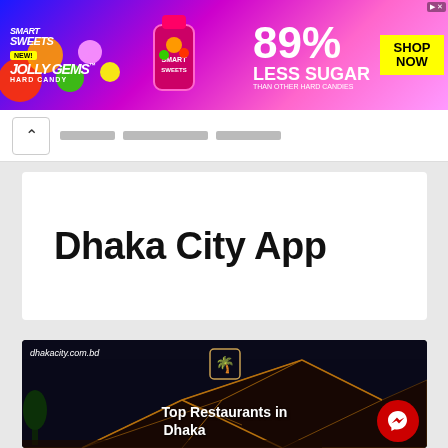[Figure (other): Smart Sweets Jolly Gems Hard Candy advertisement banner. Blue-to-pink gradient background with colorful candy illustrations. Text reads 'SMART SWEETS', 'NEW!', 'JOLLY GEMS™ HARD CANDY', '89% LESS SUGAR THAN OTHER HARD CANDIES', 'SHOP NOW' button.]
← [breadcrumb navigation items]
Dhaka City App
[Figure (photo): Dark nighttime photo of a modern architectural building (geodesic dome style) with text overlay: 'dhakacity.com.bd', palm tree logo icon, 'Top Restaurants in Dhaka'. Red circular Messenger chat button in lower right corner.]